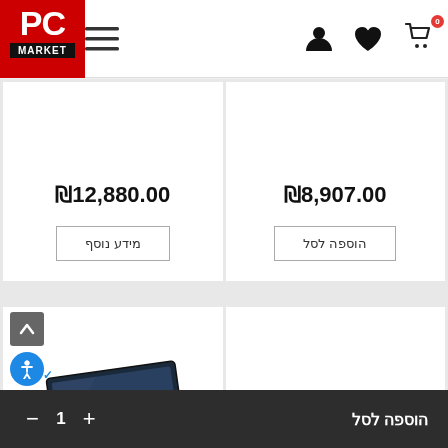PC Market - navigation header with cart (0), heart, user, menu icons and PC MARKET logo
₪8,907.00
הוספה לסל
₪12,880.00
מידע נוסף
[Figure (screenshot): Laptop product image (dark blue/black laptop partially open) in bottom-right card]
הוספה לסל
+ 1 −